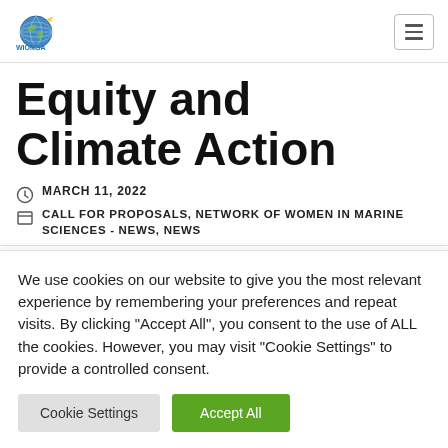WIOMSA logo and navigation menu
Equity and Climate Action
MARCH 11, 2022
CALL FOR PROPOSALS, NETWORK OF WOMEN IN MARINE SCIENCES - NEWS, NEWS
We use cookies on our website to give you the most relevant experience by remembering your preferences and repeat visits. By clicking "Accept All", you consent to the use of ALL the cookies. However, you may visit "Cookie Settings" to provide a controlled consent.
Cookie Settings | Accept All